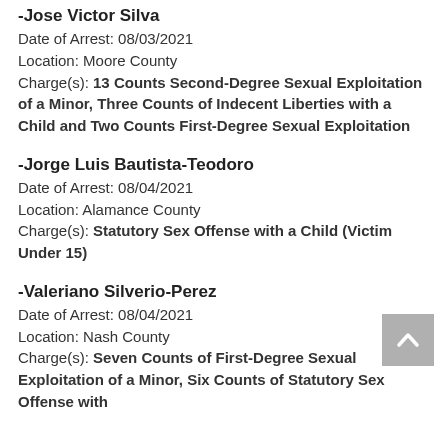-Jose Victor Silva
Date of Arrest: 08/03/2021
Location: Moore County
Charge(s): 13 Counts Second-Degree Sexual Exploitation of a Minor, Three Counts of Indecent Liberties with a Child and Two Counts First-Degree Sexual Exploitation
-Jorge Luis Bautista-Teodoro
Date of Arrest: 08/04/2021
Location: Alamance County
Charge(s): Statutory Sex Offense with a Child (Victim Under 15)
-Valeriano Silverio-Perez
Date of Arrest: 08/04/2021
Location: Nash County
Charge(s): Seven Counts of First-Degree Sexual Exploitation of a Minor, Six Counts of Statutory Sex Offense with